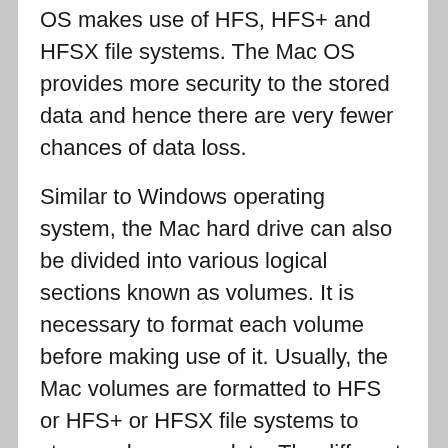OS makes use of HFS, HFS+ and HFSX file systems. The Mac OS provides more security to the stored data and hence there are very fewer chances of data loss.
Similar to Windows operating system, the Mac hard drive can also be divided into various logical sections known as volumes. It is necessary to format each volume before making use of it. Usually, the Mac volumes are formatted to HFS or HFS+ or HFSX file systems to store and manage data. The different volumes created on Mac system are used to install multiple operating systems in a single Mac hard drive. One can utilize the hard drive space in an effective way by creating multiple volumes. Even though the Mac OS is more